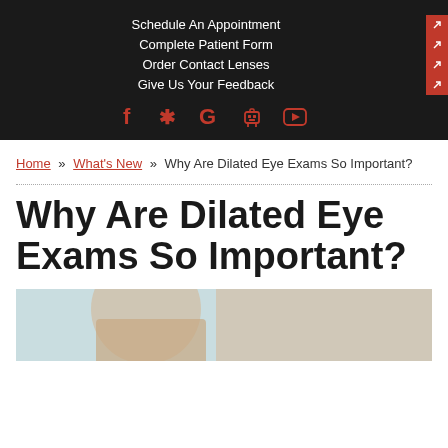Schedule An Appointment | Complete Patient Form | Order Contact Lenses | Give Us Your Feedback
Home » What's New » Why Are Dilated Eye Exams So Important?
Why Are Dilated Eye Exams So Important?
[Figure (photo): Photo of a woman at an eye exam]